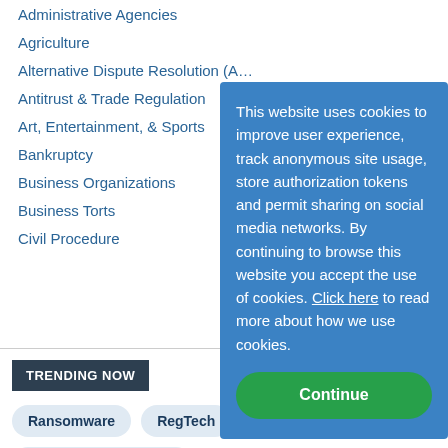Administrative Agencies
Agriculture
Alternative Dispute Resolution (A…
Antitrust & Trade Regulation
Art, Entertainment, & Sports
Bankruptcy
Business Organizations
Business Torts
Civil Procedure
This website uses cookies to improve user experience, track anonymous site usage, store authorization tokens and permit sharing on social media networks. By continuing to browse this website you accept the use of cookies. Click here to read more about how we use cookies.
Continue
TRENDING NOW
Ransomware
RegTech
Wage Theft Protection
The NLRB
Chief Compliance Officers